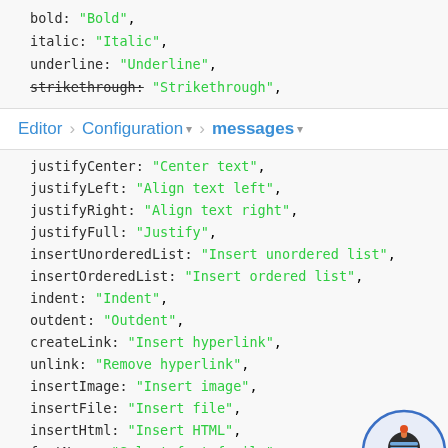bold: "Bold",
italic: "Italic",
underline: "Underline",
strikethrough: "Strikethrough",
Editor > Configuration > messages
justifyCenter: "Center text",
justifyLeft: "Align text left",
justifyRight: "Align text right",
justifyFull: "Justify",
insertUnorderedList: "Insert unordered list",
insertOrderedList: "Insert ordered list",
indent: "Indent",
outdent: "Outdent",
createLink: "Insert hyperlink",
unlink: "Remove hyperlink",
insertImage: "Insert image",
insertFile: "Insert file",
insertHtml: "Insert HTML",
fontName: "Select font family",
fontNameInherit: "(inherited font)",
fontSize: "Select font size",
fontSizeInherit: "(inherited size)",
formatBlock: "Format",
formatting: "Format",
style: "Styles",
viewHtml: "View HTML",